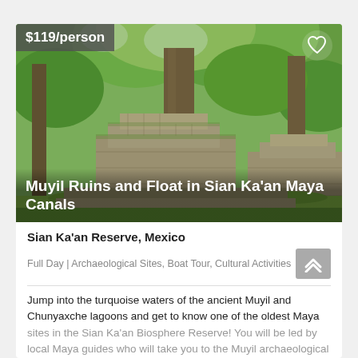[Figure (photo): Moss-covered ancient Maya stone ruins with large trees growing among the structures, surrounded by lush green jungle vegetation.]
Muyil Ruins and Float in Sian Ka'an Maya Canals
$119/person
Sian Ka'an Reserve, Mexico
Full Day | Archaeological Sites, Boat Tour, Cultural Activities
Jump into the turquoise waters of the ancient Muyil and Chunyaxche lagoons and get to know one of the oldest Maya sites in the Sian Ka'an Biosphere Reserve! You will be led by local Maya guides who will take you to the Muyil archaeological